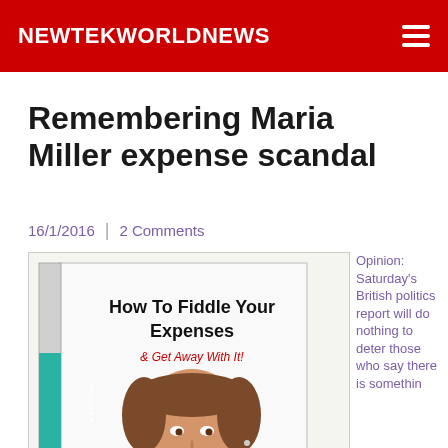NEWTEKWORLDNEWS
Remembering Maria Miller expense scandal
16/1/2016 | 2 Comments
[Figure (photo): Book cover showing 'How To Fiddle Your Expenses & Get Away With It!' with a photo of Maria Miller and a teal ribbon reading 'Y EDITION']
Opinion: Saturday's British politics report will do nothing to deter those who say there is somethin